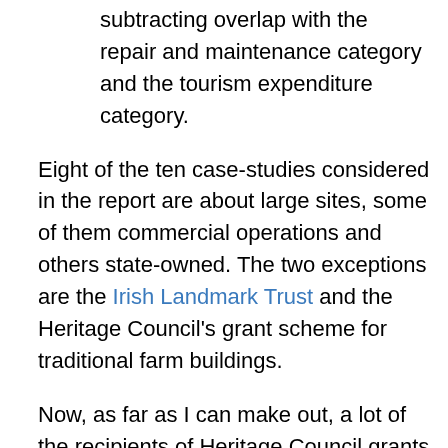subtracting overlap with the repair and maintenance category and the tourism expenditure category.
Eight of the ten case-studies considered in the report are about large sites, some of them commercial operations and others state-owned. The two exceptions are the Irish Landmark Trust and the Heritage Council's grant scheme for traditional farm buildings.
Now, as far as I can make out, a lot of the recipients of Heritage Council grants (generally, not just those for farm buildings) would have fallen into the “Other structures erected pre-1919” category. I have not been able to discover, from the report, how much of the Historic Environment's contribution to Gross Value Added is attributable to that category, or to any other category that might include the Council’s recipients of small grants.